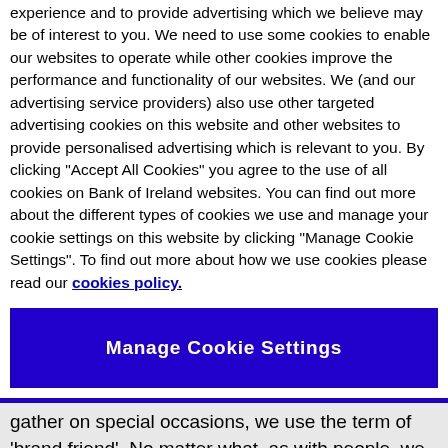experience and to provide advertising which we believe may be of interest to you. We need to use some cookies to enable our websites to operate while other cookies improve the performance and functionality of our websites. We (and our advertising service providers) also use other targeted advertising cookies on this website and other websites to provide personalised advertising which is relevant to you. By clicking "Accept All Cookies" you agree to the use of all cookies on Bank of Ireland websites. You can find out more about the different types of cookies we use and manage your cookie settings on this website by clicking "Manage Cookie Settings". To find out more about how we use cookies please read our cookies policy.
Manage Cookie Settings
gather on special occasions, we use the term of 'brand friend'. No matter what, as with people, we have an emotional connection with brands. We love or hate